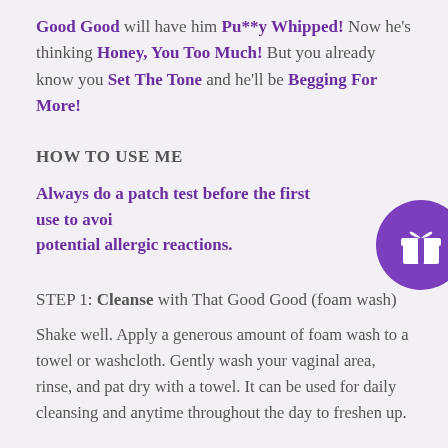Good Good will have him Pu**y Whipped! Now he's thinking Honey, You Too Much! But you already know you Set The Tone and he'll be Begging For More!
HOW TO USE ME
Always do a patch test before the first use to avoid potential allergic reactions.
STEP 1: Cleanse with That Good Good (foam wash)
Shake well. Apply a generous amount of foam wash to a towel or washcloth. Gently wash your vaginal area, rinse, and pat dry with a towel. It can be used for daily cleansing and anytime throughout the day to freshen up.
[Figure (illustration): Purple circular button with a white gift box icon]